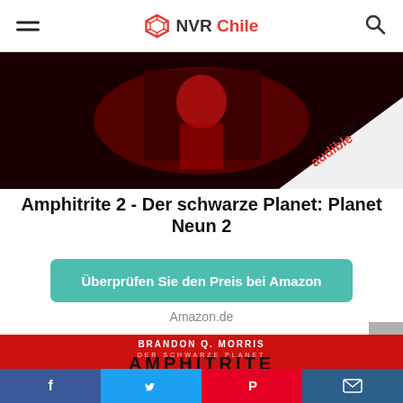NVR Chile
[Figure (photo): Dark red book cover with audible badge 'NUR BEI audible' in the top right corner]
Amphitrite 2 - Der schwarze Planet: Planet Neun 2
Überprüfen Sie den Preis bei Amazon
Amazon.de
[Figure (photo): Red book cover showing 'BRANDON Q. MORRIS - DER SCHWARZE PLANET - AMPHITRITE' title text]
Facebook | Twitter | Pinterest | Email